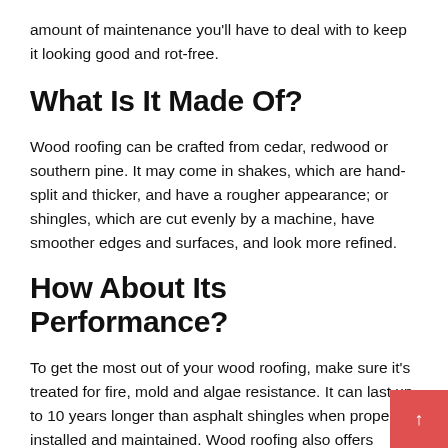amount of maintenance you'll have to deal with to keep it looking good and rot-free.
What Is It Made Of?
Wood roofing can be crafted from cedar, redwood or southern pine. It may come in shakes, which are hand-split and thicker, and have a rougher appearance; or shingles, which are cut evenly by a machine, have smoother edges and surfaces, and look more refined.
How About Its Performance?
To get the most out of your wood roofing, make sure it's treated for fire, mold and algae resistance. It can last up to 10 years longer than asphalt shingles when properly installed and maintained. Wood roofing also offers superior insulating properties, making it an energy-efficient ch
How Does It Look?